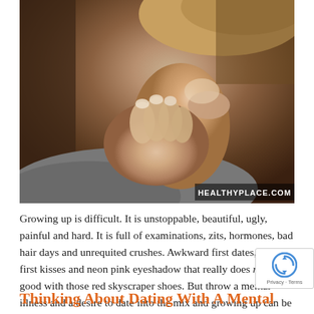[Figure (photo): Close-up photo of a young woman resting her chin on her clasped hands, looking contemplative or anxious. Photo credit: HEALTHYPLACE.COM watermark in bottom right corner.]
Growing up is difficult. It is unstoppable, beautiful, ugly, painful and hard. It is full of examinations, zits, hormones, bad hair days and unrequited crushes. Awkward first dates, sloppy first kisses and neon pink eyeshadow that really does not look good with those red skyscraper shoes. But throw a mental illness and a desire to date into the mix and growing up can be torturous.
Thinking About Dating With A Mental